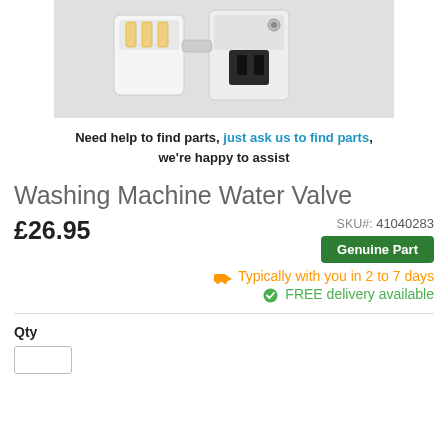[Figure (photo): Product photo of a washing machine water valve component — white and grey plastic body with black electrical connector, photographed on white background]
Need help to find parts, just ask us to find parts, we're happy to assist
Washing Machine Water Valve
£26.95  SKU#: 41040283  Genuine Part
Typically with you in 2 to 7 days
FREE delivery available
Qty